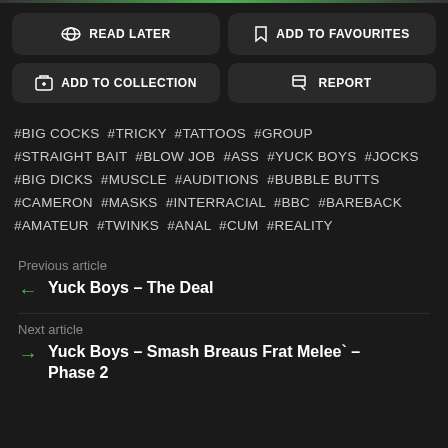READ LATER
ADD TO FAVOURITES
ADD TO COLLECTION
REPORT
#BIG COCKS #TRICKY #TATTOOS #GROUP #STRAIGHT BAIT #BLOW JOB #ASS #YUCK BOYS #JOCKS #BIG DICKS #MUSCLE #AUDITIONS #BUBBLE BUTTS #CAMERON #MASKS #INTERRACIAL #BBC #BAREBACK #AMATEUR #TWINKS #ANAL #CUM #REALITY
Previous article
← Yuck Boys – The Deal
Next article
→ Yuck Boys – Smash Breaus Frat Melee` – Phase 2